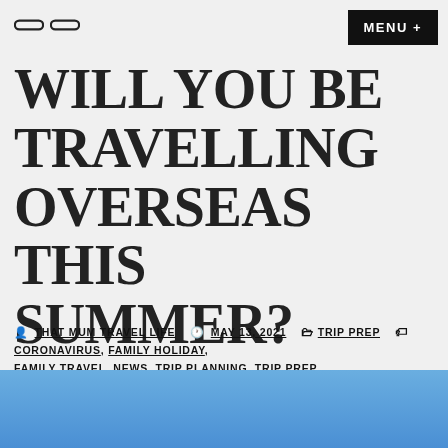MENU +
WILL YOU BE TRAVELLING OVERSEAS THIS SUMMER?
THAT MUM TRAVEL LIFE  MAY 13, 2021  TRIP PREP  CORONAVIRUS, FAMILY HOLIDAY, FAMILY TRAVEL, NEWS, TRIP PLANNING, TRIP PREP
[Figure (photo): Blue sky photo at the bottom of the page]